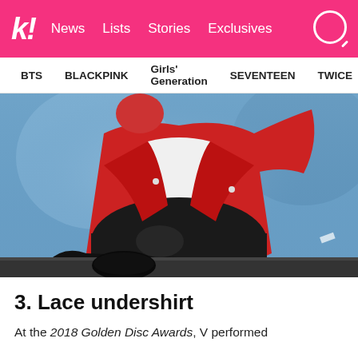koreaboo — News  Lists  Stories  Exclusives
BTS  BLACKPINK  Girls' Generation  SEVENTEEN  TWICE
[Figure (photo): Close-up photo of a person sitting, wearing black pants and a red jacket over a white top, on a stage with blue background lighting.]
3. Lace undershirt
At the 2018 Golden Disc Awards, V performed